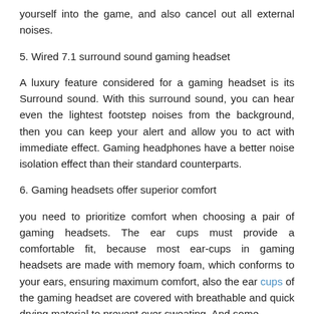yourself into the game, and also cancel out all external noises.
5. Wired 7.1 surround sound gaming headset
A luxury feature considered for a gaming headset is its Surround sound. With this surround sound, you can hear even the lightest footstep noises from the background, then you can keep your alert and allow you to act with immediate effect. Gaming headphones have a better noise isolation effect than their standard counterparts.
6. Gaming headsets offer superior comfort
you need to prioritize comfort when choosing a pair of gaming headsets. The ear cups must provide a comfortable fit, because most ear-cups in gaming headsets are made with memory foam, which conforms to your ears, ensuring maximum comfort, also the ear cups of the gaming headset are covered with breathable and quick drying material to prevent over sweating. And some